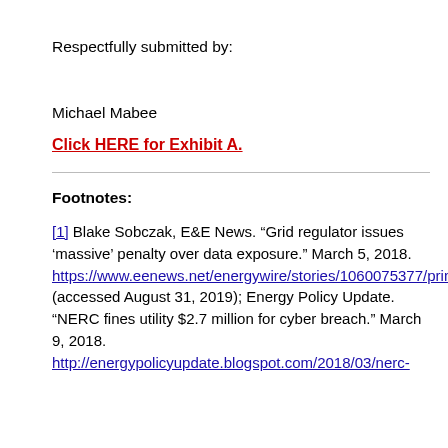Respectfully submitted by:
Michael Mabee
Click HERE for Exhibit A.
Footnotes:
[1] Blake Sobczak, E&E News. “Grid regulator issues ‘massive’ penalty over data exposure.” March 5, 2018. https://www.eenews.net/energywire/stories/1060075377/print (accessed August 31, 2019); Energy Policy Update. “NERC fines utility $2.7 million for cyber breach.” March 9, 2018. http://energypolicyupdate.blogspot.com/2018/03/nerc-